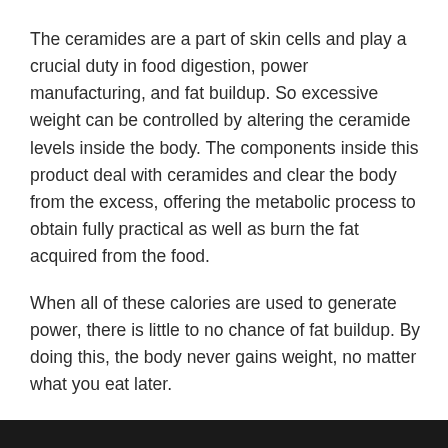The ceramides are a part of skin cells and play a crucial duty in food digestion, power manufacturing, and fat buildup. So excessive weight can be controlled by altering the ceramide levels inside the body. The components inside this product deal with ceramides and clear the body from the excess, offering the metabolic process to obtain fully practical as well as burn the fat acquired from the food.
When all of these calories are used to generate power, there is little to no chance of fat buildup. By doing this, the body never gains weight, no matter what you eat later.